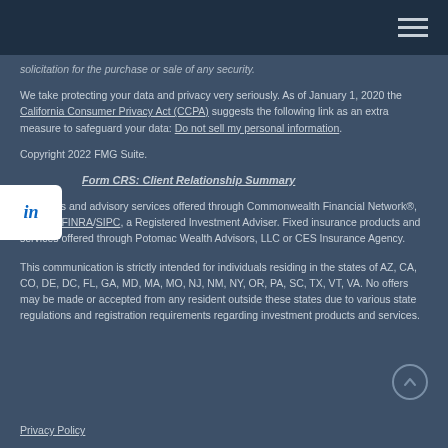solicitation for the purchase or sale of any security.
We take protecting your data and privacy very seriously. As of January 1, 2020 the California Consumer Privacy Act (CCPA) suggests the following link as an extra measure to safeguard your data: Do not sell my personal information.
Copyright 2022 FMG Suite.
Form CRS: Client Relationship Summary
Securities and advisory services offered through Commonwealth Financial Network®, Member FINRA/SIPC, a Registered Investment Adviser. Fixed insurance products and services offered through Potomac Wealth Advisors, LLC or CES Insurance Agency.
This communication is strictly intended for individuals residing in the states of AZ, CA, CO, DE, DC, FL, GA, MD, MA, MO, NJ, NM, NY, OR, PA, SC, TX, VT, VA. No offers may be made or accepted from any resident outside these states due to various state regulations and registration requirements regarding investment products and services.
Privacy Policy